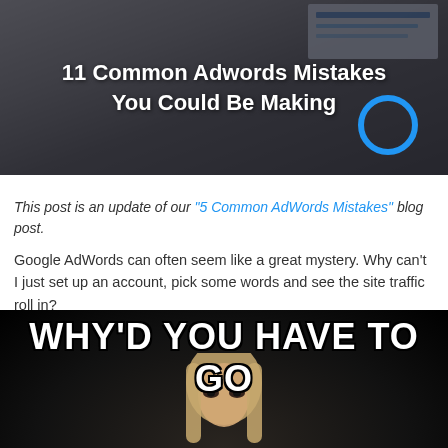[Figure (photo): Blog post header image showing a laptop with analytics/charts on screen, dark overlay with title text '11 Common Adwords Mistakes You Could Be Making' and a blue circle graphic element in the bottom-right corner]
This post is an update of our "5 Common AdWords Mistakes" blog post.
Google AdWords can often seem like a great mystery. Why can't I just set up an account, pick some words and see the site traffic roll in?
[Figure (photo): Meme image with black background showing a blonde woman looking directly at camera with dramatic makeup, with white Impact font text reading 'WHY'D YOU HAVE TO GO' at the top]